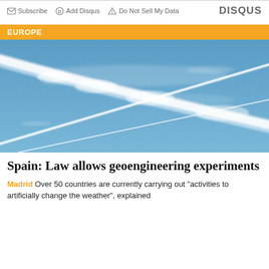Subscribe   Add Disqus   Do Not Sell My Data   DISQUS
EUROPE
[Figure (photo): Blue sky with white aircraft contrails crossing each other in an X pattern]
Spain: Law allows geoengineering experiments
Madrid Over 50 countries are currently carrying out "activities to artificially change the weather", explained